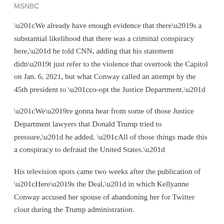MSNBC
“We already have enough evidence that there’s a substantial likelihood that there was a criminal conspiracy here,” he told CNN, adding that his statement didn’t just refer to the violence that overtook the Capitol on Jan. 6, 2021, but what Conway called an attempt by the 45th president to “co-opt the Justice Department.”
“We’re gonna hear from some of those Justice Department lawyers that Donald Trump tried to pressure,” he added. “All of those things made this a conspiracy to defraud the United States.”
His television spots came two weeks after the publication of “Here’s the Deal,” in which Kellyanne Conway accused her spouse of abandoning her for Twitter clout during the Trump administration.
“For the first time since George and I had gotten serious, I was looking at the possibility that the man who had always had my